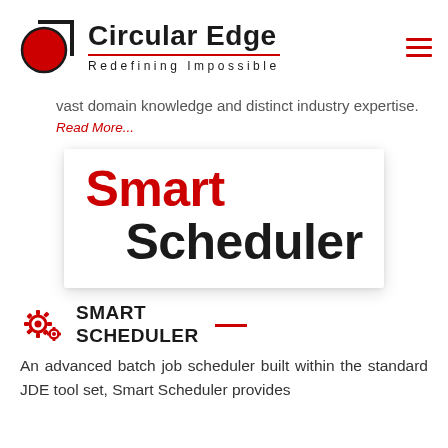[Figure (logo): Circular Edge logo with red circle icon, company name 'Circular Edge', tagline 'Redefining Impossible', and red hamburger menu icon]
vast domain knowledge and distinct industry expertise.
Read More...
[Figure (logo): Smart Scheduler product logo with 'Smart' in red and 'Scheduler' in black, on a white card with shadow]
SMART SCHEDULER
An advanced batch job scheduler built within the standard JDE tool set, Smart Scheduler provides